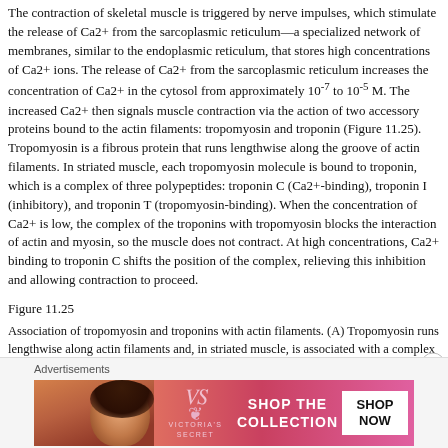The contraction of skeletal muscle is triggered by nerve impulses, which stimulate the release of Ca2+ from the sarcoplasmic reticulum—a specialized network of membranes, similar to the endoplasmic reticulum, that stores high concentrations of Ca2+ ions. The release of Ca2+ from the sarcoplasmic reticulum increases the concentration of Ca2+ in the cytosol from approximately 10-7 to 10-5 M. The increased Ca2+ then signals muscle contraction via the action of two accessory proteins bound to the actin filaments: tropomyosin and troponin (Figure 11.25). Tropomyosin is a fibrous protein that runs lengthwise along the groove of actin filaments. In striated muscle, each tropomyosin molecule is bound to troponin, which is a complex of three polypeptides: troponin C (Ca2+-binding), troponin I (inhibitory), and troponin T (tropomyosin-binding). When the concentration of Ca2+ is low, the complex of the troponins with tropomyosin blocks the interaction of actin and myosin, so the muscle does not contract. At high concentrations, Ca2+ binding to troponin C shifts the position of the complex, relieving this inhibition and allowing contraction to proceed.
Figure 11.25
Association of tropomyosin and troponins with actin filaments. (A) Tropomyosin runs lengthwise along actin filaments and, in striated muscle, is associated with a complex of three troponins: troponin I (TnI), troponin C (TnC), and troponin T (TnT). In (more...)
Assemblies of Actin and Myosin in Nonmuscle Cells
[Figure (photo): Victoria's Secret advertisement banner with model, VS logo, 'SHOP THE COLLECTION' text and 'SHOP NOW' button on pink/red gradient background]